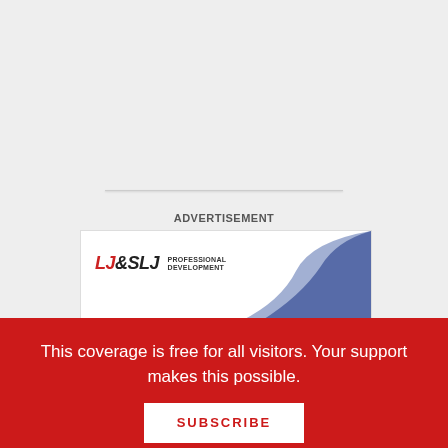[Figure (other): Top gray section with a faint horizontal divider line]
ADVERTISEMENT
[Figure (logo): LJ&SLJ Professional Development banner advertisement with blue wave graphic on right side and red/black logo on left]
This coverage is free for all visitors. Your support makes this possible.
SUBSCRIBE